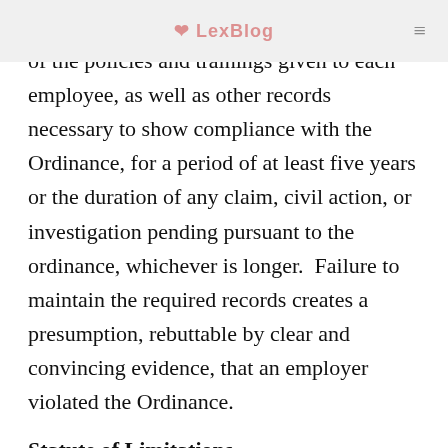LexBlog
Employers also must retain written records of the policies and trainings given to each employee, as well as other records necessary to show compliance with the Ordinance, for a period of at least five years or the duration of any claim, civil action, or investigation pending pursuant to the ordinance, whichever is longer.  Failure to maintain the required records creates a presumption, rebuttable by clear and convincing evidence, that an employer violated the Ordinance.
Statute of Limitations
Employees will now have 365 days, instead of